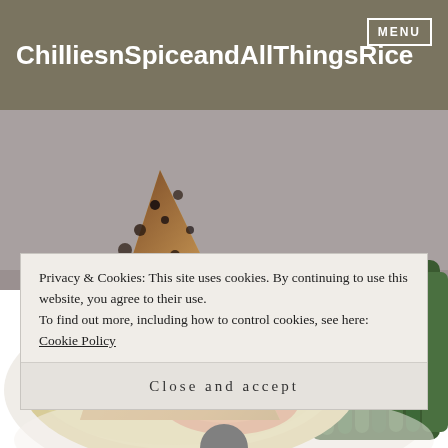ChilliesnSpiceandAllThingsRice MENU
[Figure (photo): Close-up food photograph of a plated salmon dish with creamy sauce, diced potatoes/vegetables, a large breaded/crusted triangular piece (possibly fish or bread) standing upright, and green beans arranged on the right side, on a white plate against a grey background.]
Privacy & Cookies: This site uses cookies. By continuing to use this website, you agree to their use.
To find out more, including how to control cookies, see here: Cookie Policy
Close and accept